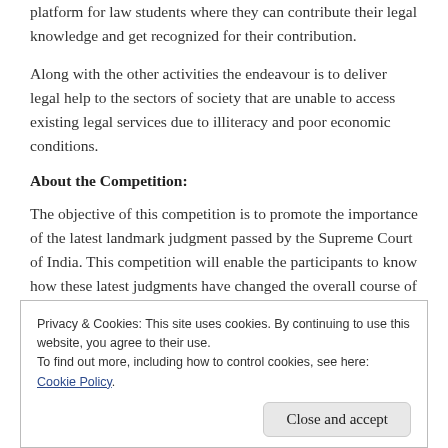platform for law students where they can contribute their legal knowledge and get recognized for their contribution.
Along with the other activities the endeavour is to deliver legal help to the sectors of society that are unable to access existing legal services due to illiteracy and poor economic conditions.
About the Competition:
The objective of this competition is to promote the importance of the latest landmark judgment passed by the Supreme Court of India. This competition will enable the participants to know how these latest judgments have changed the overall course of justice. The Supreme Court landmark judgments provided as the theme of the Competition would not only enrich the
Privacy & Cookies: This site uses cookies. By continuing to use this website, you agree to their use.
To find out more, including how to control cookies, see here: Cookie Policy
Close and accept